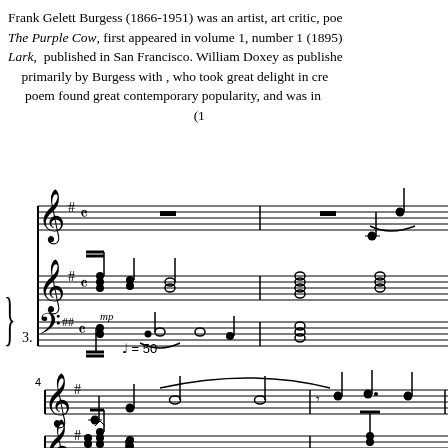Frank Gelett Burgess (1866-1951) was an artist, art critic, poe... The Purple Cow, first appeared in volume 1, number 1 (1895) Lark, published in San Francisco. William Doxey as published primarily by Burgess with , who took great delight in cre... poem found great contemporary popularity, and was in... (1...
[Figure (other): Sheet music showing musical notation for a choral/piano piece. Tempo marking = 50. Measure 3 marked with '3.' brace, mp dynamic marking. Shows treble and bass clef staves with notes, ties, and chords.]
Pur - ple Cow,___ I ne - ve...